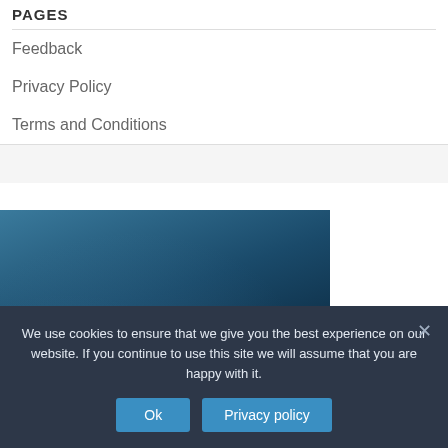PAGES
Feedback
Privacy Policy
Terms and Conditions
[Figure (photo): Dark blue textured background photo, possibly sky or water]
We use cookies to ensure that we give you the best experience on our website. If you continue to use this site we will assume that you are happy with it.
Ok  Privacy policy